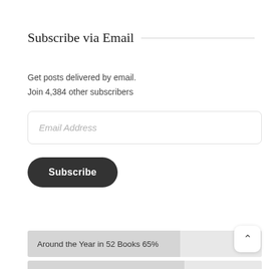Subscribe via Email
Get posts delivered by email.
Join 4,384 other subscribers
[Figure (screenshot): Email address input field with placeholder text 'Email Address']
[Figure (screenshot): Subscribe button, dark rounded rectangle with white text 'Subscribe']
[Figure (bar-chart): ]
[Figure (screenshot): Back-to-top button, white rounded square with upward chevron arrow]